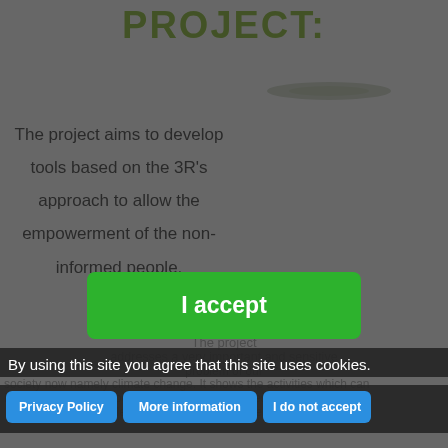PROJECT:
[Figure (illustration): Small greenish elongated shape or logo image, centered-right on the page]
The project aims to develop tools based on the 3R's approach to allow the empowerment of the non-informed people.
The project addresses a very important and sensitive problem of our society now namely climate change. It shows the activities which can be taken now by the people in European counties. This training will let the target group achieve new knowledge.
By using this site you agree that this site uses cookies.
Privacy Policy
More information
I do not accept
I accept